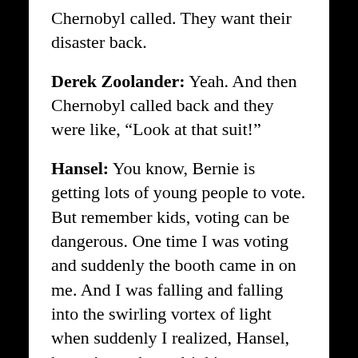Chernobyl called. They want their disaster back.
Derek Zoolander: Yeah. And then Chernobyl called back and they were like, “Look at that suit!”
Hansel: You know, Bernie is getting lots of young people to vote. But remember kids, voting can be dangerous. One time I was voting and suddenly the booth came in on me. And I was falling and falling into the swirling vortex of light when suddenly I realized, Hansel, haven’t you been drinking Ayahuasca for six straight days? And couldn’t some of this maybe be in